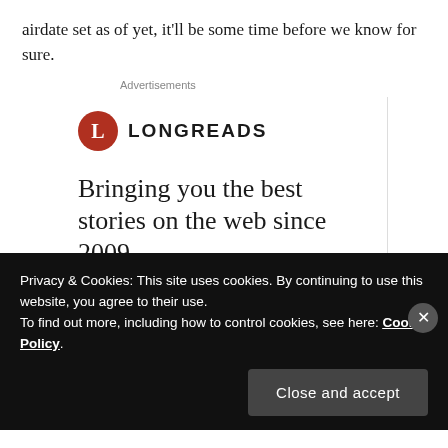airdate set as of yet, it'll be some time before we know for sure.
Advertisements
[Figure (logo): Longreads logo: red circle with white letter L, followed by LONGREADS in bold sans-serif caps]
Bringing you the best stories on the web since 2009.
Start reading
Privacy & Cookies: This site uses cookies. By continuing to use this website, you agree to their use.
To find out more, including how to control cookies, see here: Cookie Policy
Close and accept